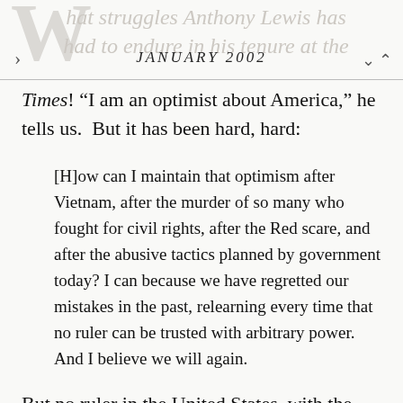JANUARY 2002
Times! “I am an optimist about America,” he tells us. But it has been hard, hard:
[H]ow can I maintain that optimism after Vietnam, after the murder of so many who fought for civil rights, after the Red scare, and after the abusive tactics planned by government today? I can because we have regretted our mistakes in the past, relearning every time that no ruler can be trusted with arbitrary power. And I believe we will again.
But no ruler in the United States, with the